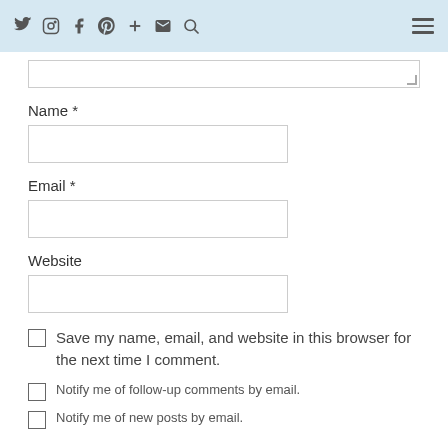Social icons: twitter, instagram, facebook, pinterest, plus, email, search; hamburger menu
Name *
Email *
Website
Save my name, email, and website in this browser for the next time I comment.
Notify me of follow-up comments by email.
Notify me of new posts by email.